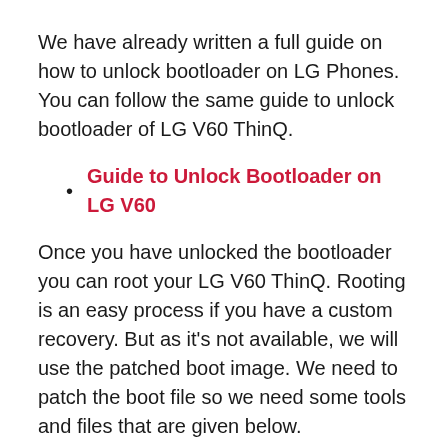We have already written a full guide on how to unlock bootloader on LG Phones. You can follow the same guide to unlock bootloader of LG V60 ThinQ.
Guide to Unlock Bootloader on LG V60
Once you have unlocked the bootloader you can root your LG V60 ThinQ. Rooting is an easy process if you have a custom recovery. But as it’s not available, we will use the patched boot image. We need to patch the boot file so we need some tools and files that are given below.
Prerequisites